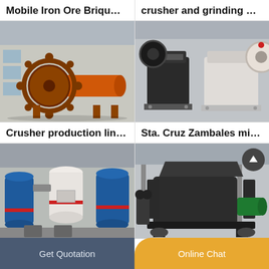Mobile Iron Ore Briqu…
crusher and grinding …
[Figure (photo): Orange ball mill industrial grinding machine in a factory setting]
[Figure (photo): Black and white jaw crusher machines in a factory]
Crusher production lin…
Sta. Cruz Zambales mi…
[Figure (photo): Blue and white grinding/milling machines in a workshop]
[Figure (photo): Large dark grey industrial crusher machine with green motor, and an up-arrow icon overlay]
Get Quotation
Online Chat